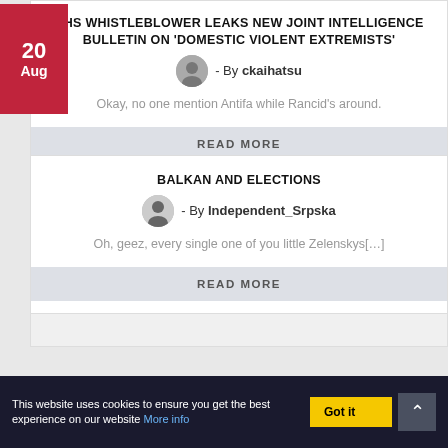DHS WHISTLEBLOWER LEAKS NEW JOINT INTELLIGENCE BULLETIN ON 'DOMESTIC VIOLENT EXTREMISTS'
- By ckaihatsu
Okay, no one mention Antifa while Rancid's around.
READ MORE
BALKAN AND ELECTIONS
- By Independent_Srpska
Oh, geez, every single one of you little Zelenskys[…]
READ MORE
This website uses cookies to ensure you get the best experience on our website More info
Got it